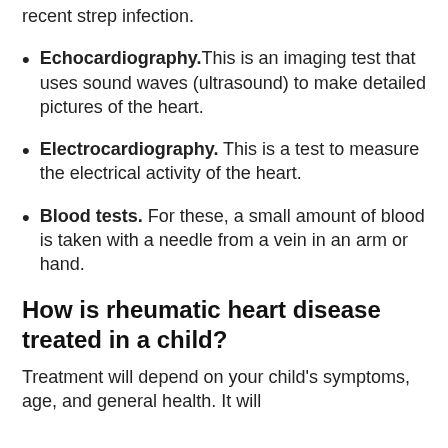recent strep infection.
Echocardiography. This is an imaging test that uses sound waves (ultrasound) to make detailed pictures of the heart.
Electrocardiography. This is a test to measure the electrical activity of the heart.
Blood tests. For these, a small amount of blood is taken with a needle from a vein in an arm or hand.
How is rheumatic heart disease treated in a child?
Treatment will depend on your child's symptoms, age, and general health. It will